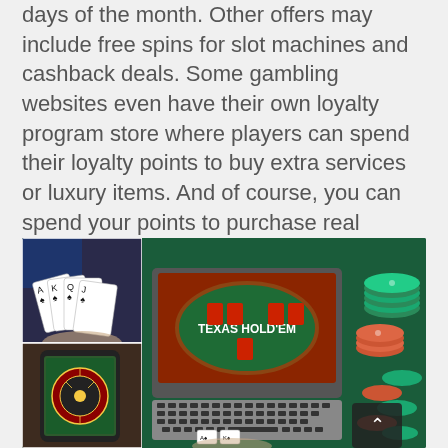days of the month. Other offers may include free spins for slot machines and cashback deals. Some gambling websites even have their own loyalty program store where players can spend their loyalty points to buy extra services or luxury items. And of course, you can spend your points to purchase real money.
[Figure (photo): Collage of online casino and gambling images: playing cards held in hand over keyboard, Texas Hold'em poker game on laptop screen, poker chips scattered on green felt, and a mobile phone showing a roulette table.]